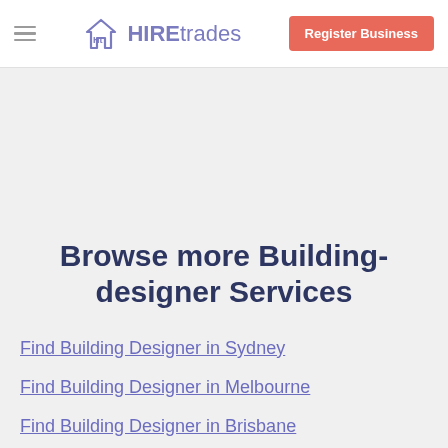HIREtrades | Register Business
Browse more Building-designer Services
Find Building Designer in Sydney
Find Building Designer in Melbourne
Find Building Designer in Brisbane
Find Building Designer in Adelaide